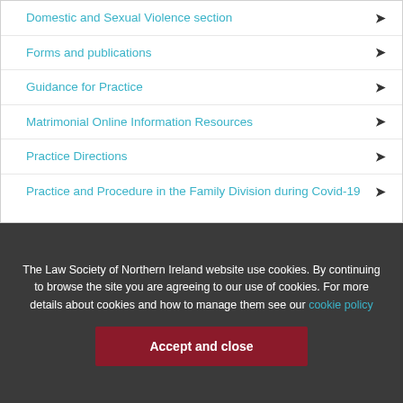Domestic and Sexual Violence section ▶
Forms and publications ▶
Guidance for Practice ▶
Matrimonial Online Information Resources ▶
Practice Directions ▶
Practice and Procedure in the Family Division during Covid-19 ▶
The Law Society of Northern Ireland website use cookies. By continuing to browse the site you are agreeing to our use of cookies. For more details about cookies and how to manage them see our cookie policy
Accept and close